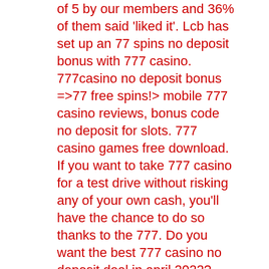of 5 by our members and 36% of them said 'liked it'. Lcb has set up an 77 spins no deposit bonus with 777 casino. 777casino no deposit bonus =&gt;77 free spins!&gt; mobile 777 casino reviews, bonus code no deposit for slots. 777 casino games free download. If you want to take 777 casino for a test drive without risking any of your own cash, you'll have the chance to do so thanks to the 777. Do you want the best 777 casino no deposit deal in april 2022? 777 casino. Get 77 free spins + up to £200 bonus. 777 casino is giving away 77 free spins no deposit, as well as a £200, welcome bonus to all new players! 777 casino describes itself as in. Join 777 casino via our link and get 77 no deposit free spins plus a 100% match bonus on your first deposit up to £200 free play! A no deposit free spins bonus in aussie is free spins rewards to slots players without deposit